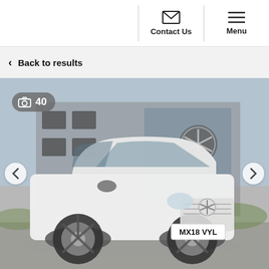Contact Us | Menu
< Back to results
[Figure (photo): White Mercedes-Benz GLE SUV (registration MX18 VYL) parked in front of a Mercedes-Benz dealership building. A photo count badge showing a camera icon and '40' is visible in the top-left corner. Navigation arrows are on left and right sides.]